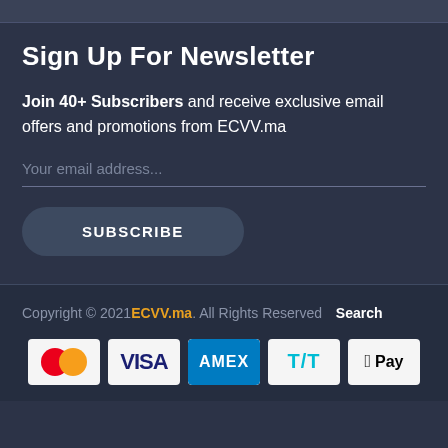Sign Up For Newsletter
Join 40+ Subscribers and receive exclusive email offers and promotions from ECVV.ma
Your email address...
SUBSCRIBE
Copyright © 2021 ECVV.ma. All Rights Reserved  Search
[Figure (other): Payment method icons: Mastercard, Visa, Amex, T/T, Apple Pay]